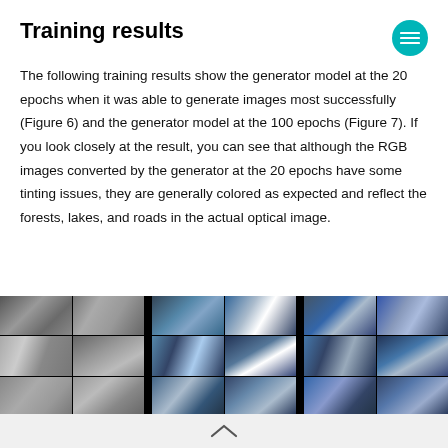Training results
The following training results show the generator model at the 20 epochs when it was able to generate images most successfully (Figure 6) and the generator model at the 100 epochs (Figure 7). If you look closely at the result, you can see that although the RGB images converted by the generator at the 20 epochs have some tinting issues, they are generally colored as expected and reflect the forests, lakes, and roads in the actual optical image.
[Figure (photo): Satellite imagery grid showing SAR images (grayscale) alongside generator-produced RGB images at 20 epochs (blue-tinted) and 100 epochs, arranged in a 2x3 grid pattern for each section separated by black dividers.]